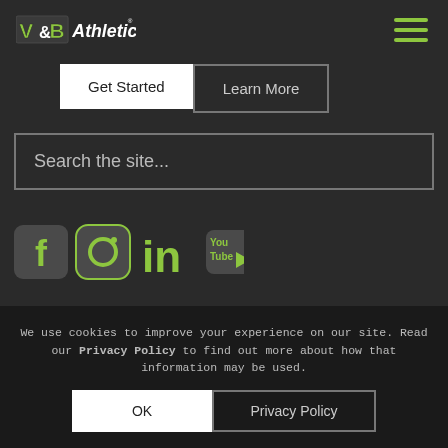[Figure (logo): V&B Athletic logo with green block letters and italic Athletic wordmark]
[Figure (illustration): Hamburger menu icon with three green horizontal lines]
Get Started
Learn More
Search the site...
[Figure (illustration): Social media icons: Facebook, Instagram, LinkedIn, YouTube in green/olive colors]
We use cookies to improve your experience on our site. Read our Privacy Policy to find out more about how that information may be used.
OK
Privacy Policy